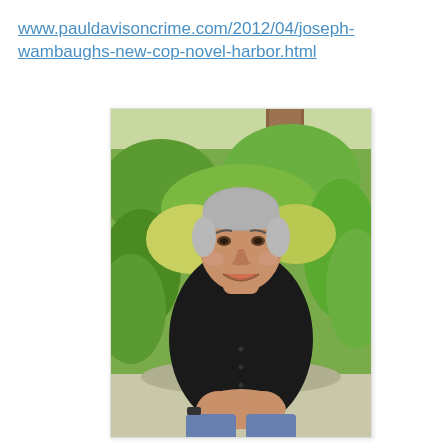www.pauldavisoncrime.com/2012/04/joseph-wambaughs-new-cop-novel-harbor.html
[Figure (photo): Portrait photo of an older man with gray hair, wearing a black shirt and blue jeans, sitting outdoors with green desert plants and a palm tree trunk in the background. He is smiling and has his hands clasped together.]